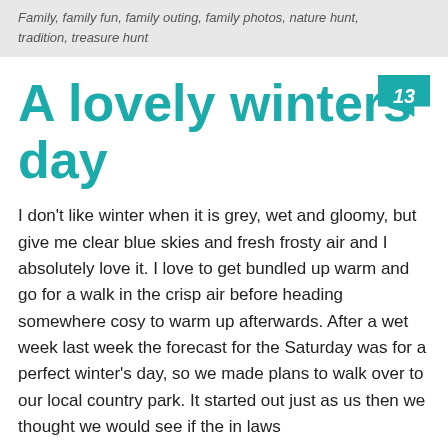Family, family fun, family outing, family photos, nature hunt, tradition, treasure hunt
A lovely winters day
I don't like winter when it is grey, wet and gloomy, but give me clear blue skies and fresh frosty air and I absolutely love it. I love to get bundled up warm and go for a walk in the crisp air before heading somewhere cosy to warm up afterwards. After a wet week last week the forecast for the Saturday was for a perfect winter's day, so we made plans to walk over to our local country park. It started out just as us then we thought we would see if the in laws